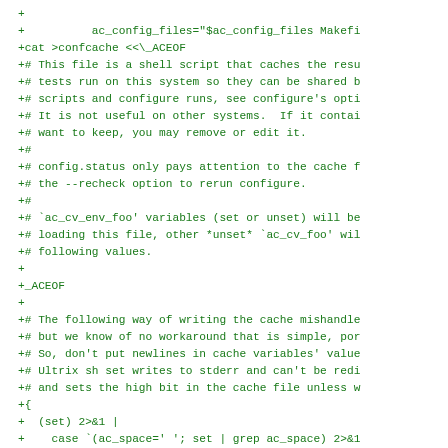+
+          ac_config_files="$ac_config_files Makefi
+cat >confcache <<\_ACEOF
+# This file is a shell script that caches the resu
+# tests run on this system so they can be shared b
+# scripts and configure runs, see configure's opti
+# It is not useful on other systems.  If it contai
+# want to keep, you may remove or edit it.
+#
+# config.status only pays attention to the cache f
+# the --recheck option to rerun configure.
+#
+# `ac_cv_env_foo' variables (set or unset) will be
+# loading this file, other *unset* `ac_cv_foo' wil
+# following values.
+
+_ACEOF
+
+# The following way of writing the cache mishandle
+# but we know of no workaround that is simple, por
+# So, don't put newlines in cache variables' value
+# Ultrix sh set writes to stderr and can't be redi
+# and sets the high bit in the cache file unless w
+{
+  (set) 2>&1 |
+    case `(ac_space=' '; set | grep ac_space) 2>&1
+    *ac_space=\ *)
+      # `set' does not quote correctly, so add quo
+      # substitution turns \\\\ into \\, and sed t
+      sed -n \